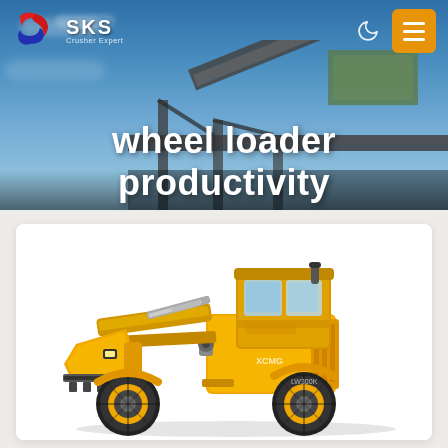[Figure (photo): Industrial conveyor belt and mining structure in background of header banner with blue sky]
SKS Crusher Export — navigation bar with logo, moon icon, and hamburger menu
wheel loader productivity
[Figure (photo): Yellow XCMG LW300K wheel loader on white background inside a product card]